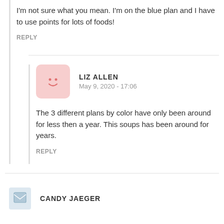I'm not sure what you mean. I'm on the blue plan and I have to use points for lots of foods!
REPLY
LIZ ALLEN
May 9, 2020 - 17:06
The 3 different plans by color have only been around for less then a year. This soups has been around for years.
REPLY
CANDY JAEGER